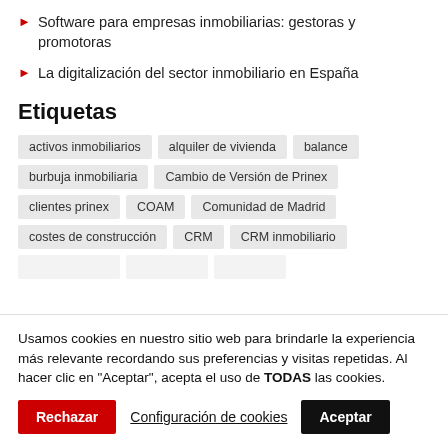Software para empresas inmobiliarias: gestoras y promotoras
La digitalización del sector inmobiliario en España
Etiquetas
activos inmobiliarios
alquiler de vivienda
balance
burbuja inmobiliaria
Cambio de Versión de Prinex
clientes prinex
COAM
Comunidad de Madrid
costes de construcción
CRM
CRM inmobiliario
Usamos cookies en nuestro sitio web para brindarle la experiencia más relevante recordando sus preferencias y visitas repetidas. Al hacer clic en "Aceptar", acepta el uso de TODAS las cookies.
Rechazar  Configuración de cookies  Aceptar